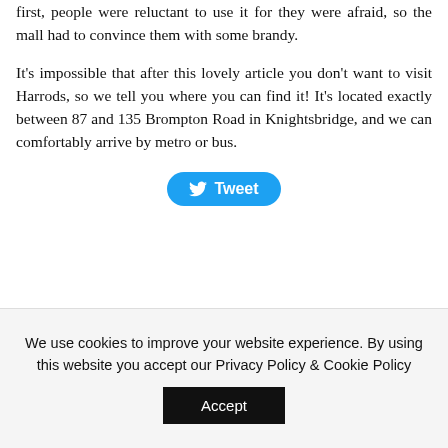first, people were reluctant to use it for they were afraid, so the mall had to convince them with some brandy.
It's impossible that after this lovely article you don't want to visit Harrods, so we tell you where you can find it! It's located exactly between 87 and 135 Brompton Road in Knightsbridge, and we can comfortably arrive by metro or bus.
[Figure (other): Tweet button with Twitter bird icon]
We use cookies to improve your website experience. By using this website you accept our Privacy Policy & Cookie Policy
Accept